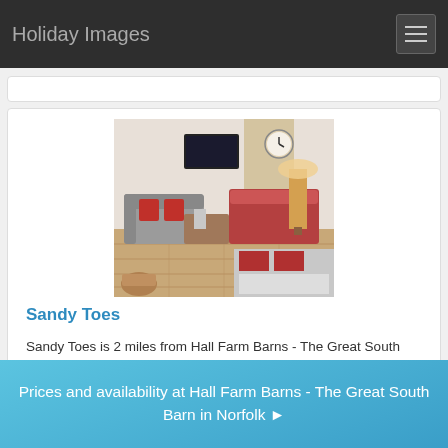Holiday Images
[Figure (photo): Interior photo of Sandy Toes holiday cottage showing a living room with sofas, red cushions, wooden floor, lamp, and a clock on the wall]
Sandy Toes
Sandy Toes is 2 miles from Hall Farm Barns - The Great South Barn and sleeps 4 people.
Sandy Toes ▶
[Figure (photo): Partial view of another holiday property exterior]
Prices and availability at Hall Farm Barns - The Great South Barn in Norfolk ▶